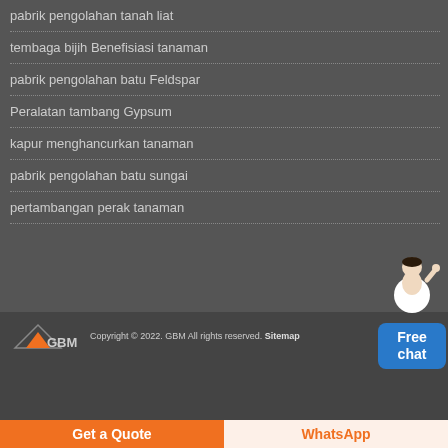pabrik pengolahan tanah liat
tembaga bijih Benefisiasi tanaman
pabrik pengolahan batu Feldspar
Peralatan tambang Gypsum
kapur menghancurkan tanaman
pabrik pengolahan batu sungai
pertambangan perak tanaman
[Figure (illustration): Customer service representative figure with blue 'Free chat' button widget]
Copyright © 2022. GBM All rights reserved. Sitemap
Get a Quote
WhatsApp